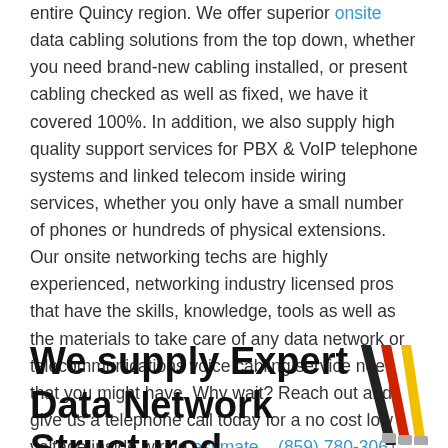entire Quincy region. We offer superior onsite data cabling solutions from the top down, whether you need brand-new cabling installed, or present cabling checked as well as fixed, we have it covered 100%. In addition, we also supply high quality support services for PBX & VoIP telephone systems and linked telecom inside wiring services, whether you only have a small number of phones or hundreds of physical extensions. Our onsite networking techs are highly experienced, networking industry licensed pros that have the skills, knowledge, tools as well as the materials to take care of any data network or telecommunications voice cabling service need that you might have. Why wait? Reach out and give us a telephone call today for a no cost low voltage inside wiring estimate – (859) 780-3061.
We supply Expert Data Network Structured
[Figure (photo): Three ethernet/network cables (black, red, yellow) bundled together with RJ45 connectors visible]